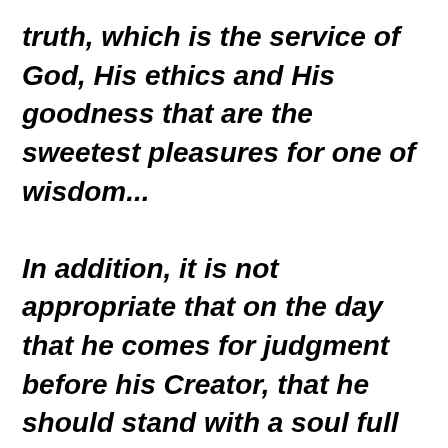truth, which is the service of God, His ethics and His goodness that are the sweetest pleasures for one of wisdom... In addition, it is not appropriate that on the day that he comes for judgment before his Creator, that he should stand with a soul full of its own importance and somewhat confused by eating, drinking and thoughts of physical pleasures